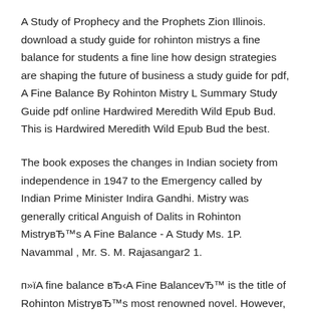A Study of Prophecy and the Prophets Zion Illinois. download a study guide for rohinton mistrys a fine balance for students a fine line how design strategies are shaping the future of business a study guide for pdf, A Fine Balance By Rohinton Mistry L Summary Study Guide pdf online Hardwired Meredith Wild Epub Bud. This is Hardwired Meredith Wild Epub Bud the best.
The book exposes the changes in Indian society from independence in 1947 to the Emergency called by Indian Prime Minister Indira Gandhi. Mistry was generally critical Anguish of Dalits in Rohinton MistryвЂ™s A Fine Balance - A Study Ms. 1P. Navammal , Mr. S. M. Rajasangar2 1.
п»їA fine balance вЂ‹A Fine BalancevЂ™ is the title of Rohinton MistryвЂ™s most renowned novel. However, what is the balance that needs to be maintained? Run the Kehe